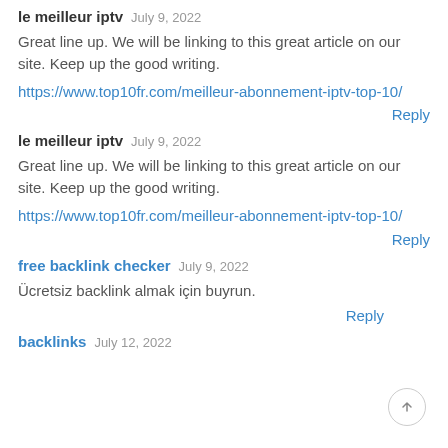le meilleur iptv   July 9, 2022
Great line up. We will be linking to this great article on our site. Keep up the good writing.
https://www.top10fr.com/meilleur-abonnement-iptv-top-10/
Reply
le meilleur iptv   July 9, 2022
Great line up. We will be linking to this great article on our site. Keep up the good writing.
https://www.top10fr.com/meilleur-abonnement-iptv-top-10/
Reply
free backlink checker   July 9, 2022
Ücretsiz backlink almak için buyrun.
Reply
backlinks   July 12, 2022